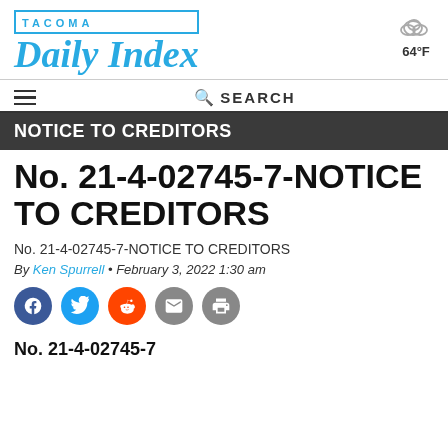Tacoma Daily Index
NOTICE TO CREDITORS
No. 21-4-02745-7-NOTICE TO CREDITORS
No. 21-4-02745-7-NOTICE TO CREDITORS
By Ken Spurrell • February 3, 2022 1:30 am
[Figure (infographic): Social share buttons: Facebook, Twitter, Reddit, Email, Print]
No. 21-4-02745-7